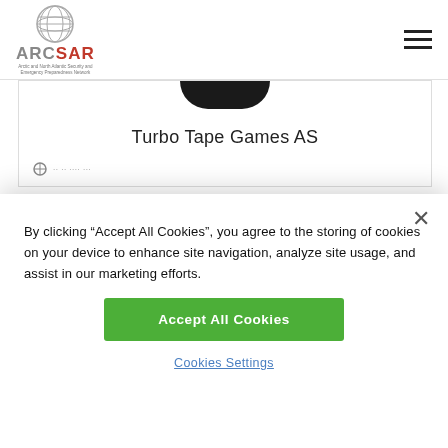ARCSAR - Arctic and North Atlantic Security and Emergency Preparedness Network
Turbo Tape Games AS
By clicking “Accept All Cookies”, you agree to the storing of cookies on your device to enhance site navigation, analyze site usage, and assist in our marketing efforts.
Accept All Cookies
Cookies Settings